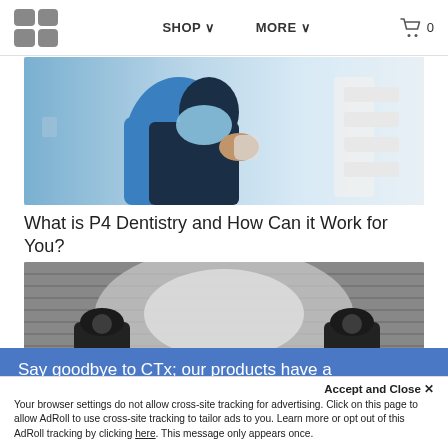SHOP  MORE  0
[Figure (photo): Person wearing dental bib seated in a blue dental chair, holding dental impression tray, with dental equipment visible in background]
What is P4 Dentistry and How Can it Work for You?
[Figure (photo): Stage studio setup with two large spotlight lamps pointed at a white brick wall, black and white/grayscale photo]
Say goodbye to CTx; our products have a new look and simplified names. Don't worry
Accept and Close ✕
Your browser settings do not allow cross-site tracking for advertising. Click on this page to allow AdRoll to use cross-site tracking to tailor ads to you. Learn more or opt out of this AdRoll tracking by clicking here. This message only appears once.